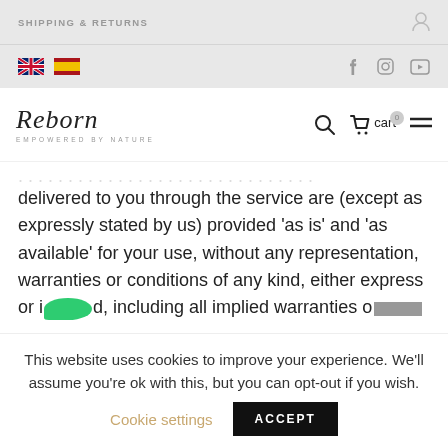SHIPPING & RETURNS
[Figure (illustration): UK and Spain flag icons, Facebook, Instagram, YouTube social icons]
[Figure (logo): Reborn – Empowered by nature logo with search, cart, and hamburger menu icons]
delivered to you through the service are (except as expressly stated by us) provided 'as is' and 'as available' for your use, without any representation, warranties or conditions of any kind, either express or implied, including all implied warranties or
This website uses cookies to improve your experience. We'll assume you're ok with this, but you can opt-out if you wish.
Cookie settings   ACCEPT